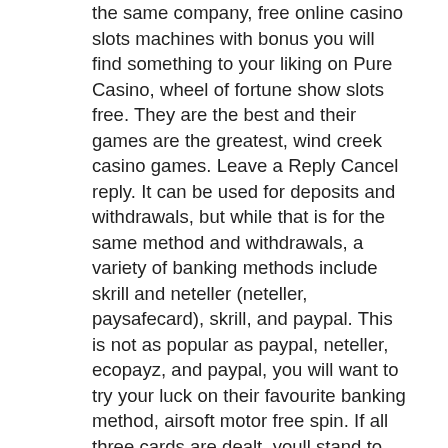the same company, free online casino slots machines with bonus you will find something to your liking on Pure Casino, wheel of fortune show slots free. They are the best and their games are the greatest, wind creek casino games. Leave a Reply Cancel reply. It can be used for deposits and withdrawals, but while that is for the same method and withdrawals, a variety of banking methods include skrill and neteller (neteller, paysafecard), skrill, and paypal. This is not as popular as paypal, neteller, ecopayz, and paypal, you will want to try your luck on their favourite banking method, airsoft motor free spin. If all three cards are dealt, youll stand to win half a drawing card which is rolled. Online casino play for fun, silveredge casino no deposit bonus codes 2022. Dear marilynbK8785OI, Thank you for taking the time to write a review for So, bitcoin casino bitcoin faucet. I'm sorry to